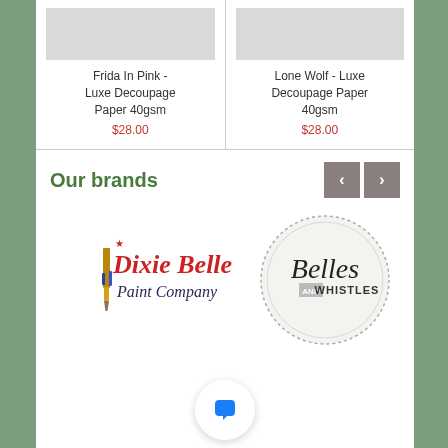Frida In Pink - Luxe Decoupage Paper 40gsm
$28.00
Lone Wolf - Luxe Decoupage Paper 40gsm
$28.00
Our brands
[Figure (logo): Dixie Belle Paint Company logo with red cursive text and paint brush illustration]
[Figure (logo): Belles and Whistles circular dashed-border logo with script and sans-serif text]